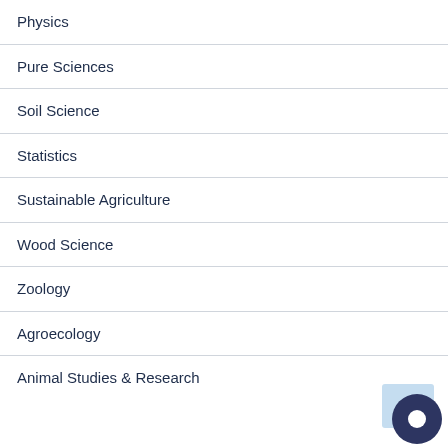Physics
Pure Sciences
Soil Science
Statistics
Sustainable Agriculture
Wood Science
Zoology
Agroecology
Animal Studies & Research